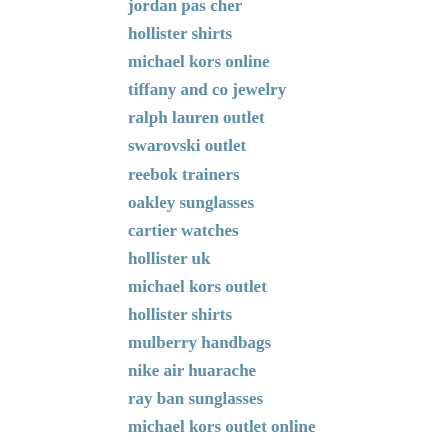jordan pas cher
hollister shirts
michael kors online
tiffany and co jewelry
ralph lauren outlet
swarovski outlet
reebok trainers
oakley sunglasses
cartier watches
hollister uk
michael kors outlet
hollister shirts
mulberry handbags
nike air huarache
ray ban sunglasses
michael kors outlet online
coach outlet
pandora jewelry
michael kors outlet store
toms outlet
fitflops uk
ralph lauren pas cher